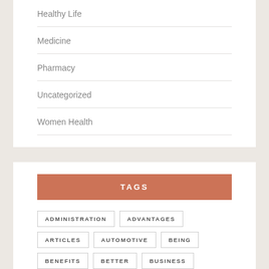Healthy Life
Medicine
Pharmacy
Uncategorized
Women Health
TAGS
ADMINISTRATION
ADVANTAGES
ARTICLES
AUTOMOTIVE
BEING
BENEFITS
BETTER
BUSINESS
CLINIC
COLLEGE
COVERAGE
DEPARTMENT
DIFFERENT
DRUGS
EDUCATION